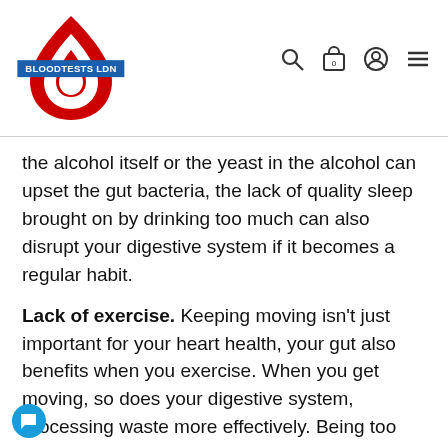[Figure (logo): Bloodtests LDN logo: red teardrop/shield shape with blue banner reading BLOODTESTS LDN]
the alcohol itself or the yeast in the alcohol can upset the gut bacteria, the lack of quality sleep brought on by drinking too much can also disrupt your digestive system if it becomes a regular habit.
Lack of exercise. Keeping moving isn't just important for your heart health, your gut also benefits when you exercise. When you get moving, so does your digestive system, processing waste more effectively. Being too sedentary can lead your digestion to